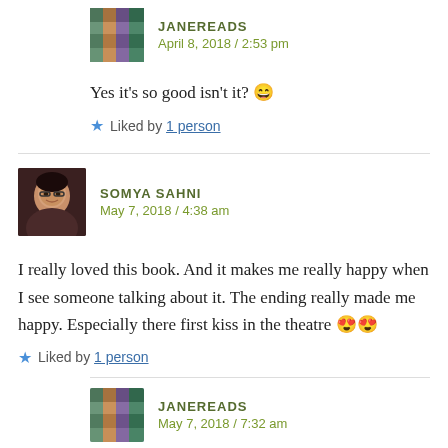JANEREADS
April 8, 2018 / 2:53 pm
Yes it's so good isn't it? 😄
Liked by 1 person
SOMYA SAHNI
May 7, 2018 / 4:38 am
I really loved this book. And it makes me really happy when I see someone talking about it. The ending really made me happy. Especially there first kiss in the theatre 😍😍
Liked by 1 person
JANEREADS
May 7, 2018 / 7:32 am